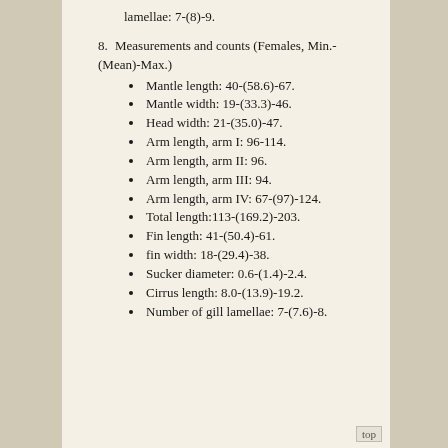lamellae: 7-(8)-9.
8. Measurements and counts (Females, Min.-(Mean)-Max.)
Mantle length: 40-(58.6)-67.
Mantle width: 19-(33.3)-46.
Head width: 21-(35.0)-47.
Arm length, arm I: 96-114.
Arm length, arm II: 96.
Arm length, arm III: 94.
Arm length, arm IV: 67-(97)-124.
Total length:113-(169.2)-203.
Fin length: 41-(50.4)-61.
fin width: 18-(29.4)-38.
Sucker diameter: 0.6-(1.4)-2.4.
Cirrus length: 8.0-(13.9)-19.2.
Number of gill lamellae: 7-(7.6)-8.